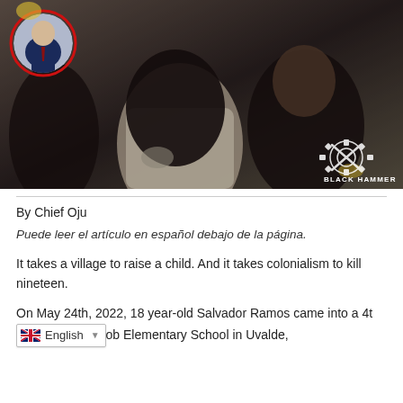[Figure (photo): A grieving woman in a Champion shirt being held by a man, both appearing distressed, with a smaller circular inset photo of a man in a suit in the top-left corner. A Black Hammer organization watermark/logo appears in the bottom-right.]
By Chief Oju
Puede leer el artículo en español debajo de la página.
It takes a village to raise a child. And it takes colonialism to kill nineteen.
On May 24th, 2022, 18 year-old Salvador Ramos came into a 4th [English dropdown] ob Elementary School in Uvalde,